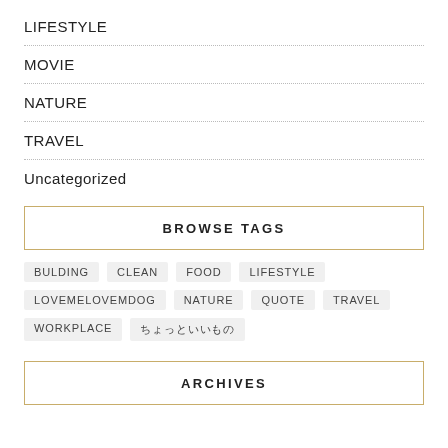LIFESTYLE
MOVIE
NATURE
TRAVEL
Uncategorized
BROWSE TAGS
BULDING
CLEAN
FOOD
LIFESTYLE
LOVEMELOVEMDOG
NATURE
QUOTE
TRAVEL
WORKPLACE
ã¡ãã£ã¨ãããã®
ARCHIVES